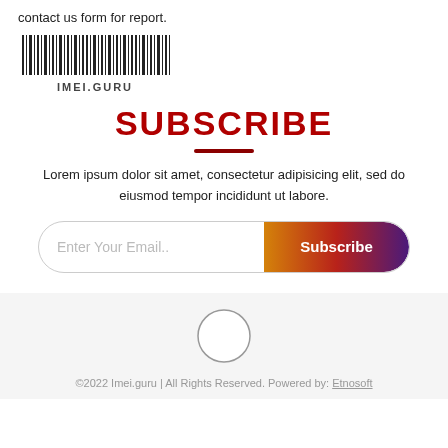contact us form for report.
[Figure (other): Barcode with text IMEI.GURU below]
SUBSCRIBE
Lorem ipsum dolor sit amet, consectetur adipisicing elit, sed do eiusmod tempor incididunt ut labore.
[Figure (other): Email subscription form with input field 'Enter Your Email..' and Subscribe button with gradient background]
[Figure (other): Circle icon in footer area]
©2022 Imei.guru | All Rights Reserved. Powered by: Etnosoft